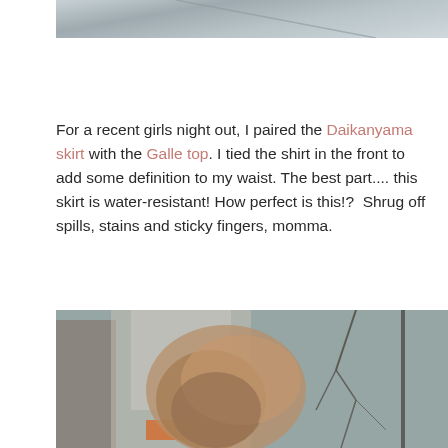[Figure (photo): Top portion of an outdoor photo, showing a gray concrete or pavement surface with a diagonal line/wire visible.]
For a recent girls night out, I paired the Daikanyama skirt with the Galle top. I tied the shirt in the front to add some definition to my waist. The best part.... this skirt is water-resistant! How perfect is this!?  Shrug off spills, stains and sticky fingers, momma.
[Figure (photo): Outdoor street scene showing an autumn tree with brown/orange leaves in the foreground, blurred city buildings and bare trees in the background, with an orange bus or sign visible in the lower center area.]